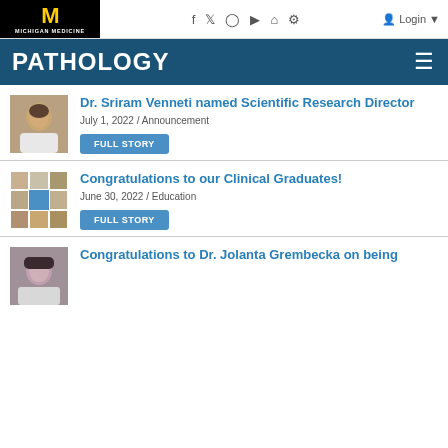Michigan Medicine | PATHOLOGY
Dr. Sriram Venneti named Scientific Research Director
July 1, 2022 / Announcement
FULL STORY
Congratulations to our Clinical Graduates!
June 30, 2022 / Education
FULL STORY
Congratulations to Dr. Jolanta Grembecka on being